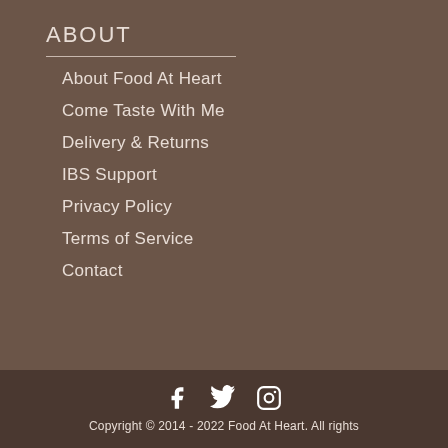ABOUT
About Food At Heart
Come Taste With Me
Delivery & Returns
IBS Support
Privacy Policy
Terms of Service
Contact
[Figure (other): Social media icons: Facebook, Twitter, Instagram]
Copyright © 2014 - 2022 Food At Heart. All rights